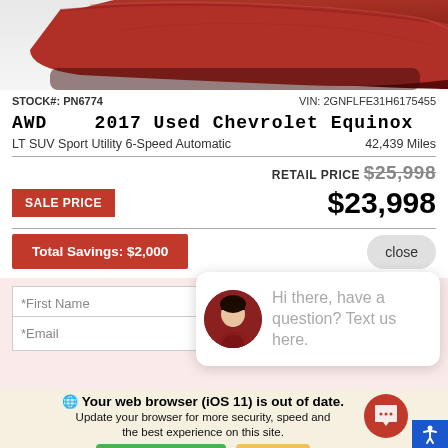[Figure (photo): Partially visible red-covered car (draped in red cloth) on white background, promotional vehicle reveal image]
STOCK#: PN6774    VIN: 2GNFLFE31H6175455
AWD   2017 Used Chevrolet Equinox
LT SUV Sport Utility 6-Speed Automatic    42,439 Miles
RETAIL PRICE $25,998
SALE PRICE    $23,998
Total Savings: $2,000
close
*First Name
*Email
Hi there, have a question? Text us here.
Your web browser (iOS 11) is out of date.
Update your browser for more security, speed and the best experience on this site.
Update browser    Ignore